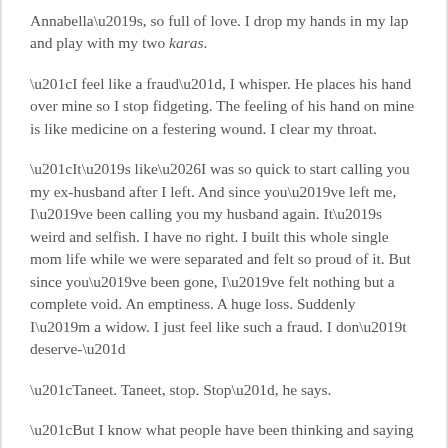Annabella's, so full of love. I drop my hands in my lap and play with my two karas.
“I feel like a fraud”, I whisper. He places his hand over mine so I stop fidgeting. The feeling of his hand on mine is like medicine on a festering wound. I clear my throat.
“It’s like…I was so quick to start calling you my ex-husband after I left. And since you’ve left me, I’ve been calling you my husband again. It’s weird and selfish. I have no right. I built this whole single mom life while we were separated and felt so proud of it. But since you’ve been gone, I’ve felt nothing but a complete void. An emptiness. A huge loss. Suddenly I’m a widow. I just feel like such a fraud. I don’t deserve-”
“Taneet. Taneet, stop. Stop”, he says.
“But I know what people have been thinking and saying